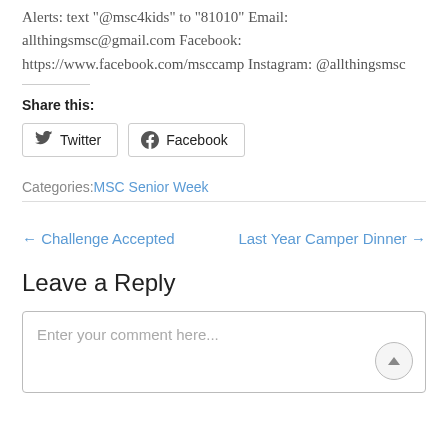Alerts: text "@msc4kids" to "81010" Email: allthingsmsc@gmail.com Facebook: https://www.facebook.com/msccamp Instagram: @allthingsmsc
Share this:
Twitter  Facebook
Categories: MSC Senior Week
← Challenge Accepted    Last Year Camper Dinner →
Leave a Reply
Enter your comment here...